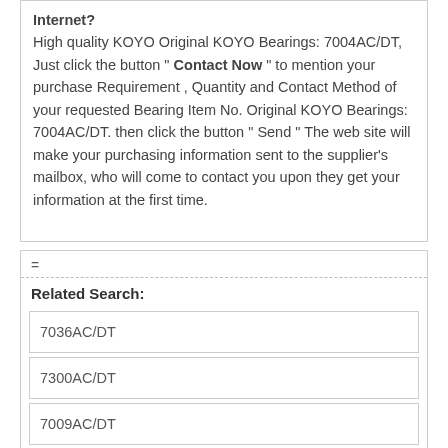Internet? High quality KOYO Original KOYO Bearings: 7004AC/DT, Just click the button " Contact Now " to mention your purchase Requirement , Quantity and Contact Method of your requested Bearing Item No. Original KOYO Bearings: 7004AC/DT. then click the button " Send " The web site will make your purchasing information sent to the supplier's mailbox, who will come to contact you upon they get your information at the first time.
=
Related Search:
7036AC/DT
7300AC/DT
7009AC/DT
Categories: KOYO FAG NTN KOYO TIMKEN